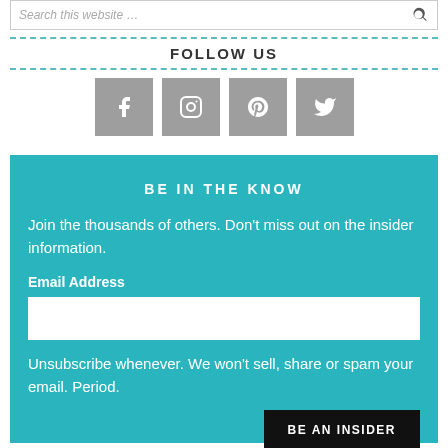Search this website …
FOLLOW US
[Figure (infographic): Four social media icon buttons (Facebook, Instagram, Pinterest, Twitter) in grey square tiles]
BE IN THE KNOW
Join the thousands of others. Don't miss out on the insider information.
Email Address
Unsubscribe whenever. We won't sell, share or spam your email. Period.
BE AN INSIDER